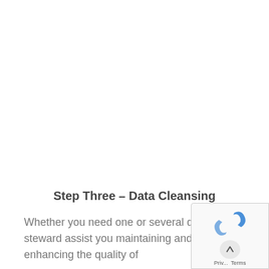Step Three – Data Cleansing
Whether you need one or several data steward assist you maintaining and enhancing the quality of